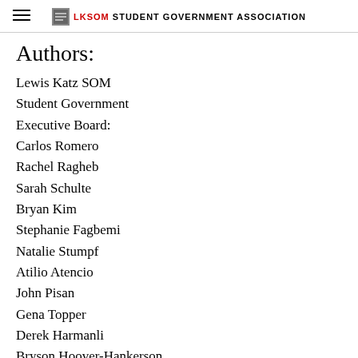LKSOM STUDENT GOVERNMENT ASSOCIATION
Authors:
Lewis Katz SOM
Student Government
Executive Board:
Carlos Romero
Rachel Ragheb
Sarah Schulte
Bryan Kim
Stephanie Fagbemi
Natalie Stumpf
Atilio Atencio
John Pisan
Gena Topper
Derek Harmanli
Bryson Hoover-Hankerson
Sudeep Mutyala